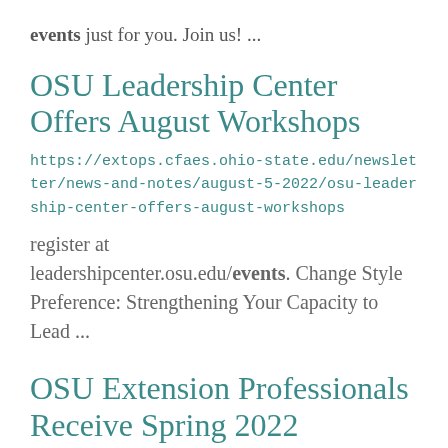events just for you. Join us! ...
OSU Leadership Center Offers August Workshops
https://extops.cfaes.ohio-state.edu/newsletter/news-and-notes/august-5-2022/osu-leadership-center-offers-august-workshops
register at leadershipcenter.osu.edu/events. Change Style Preference: Strengthening Your Capacity to Lead ...
OSU Extension Professionals Receive Spring 2022 Outreach and